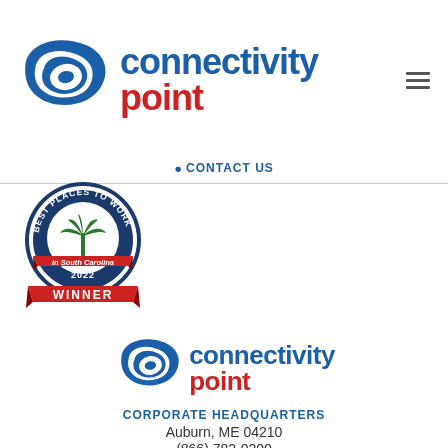[Figure (logo): Connectivity Point logo with blue swoosh/globe icon and two-line text: 'connectivity' in blue and 'point' in red]
CONTACT US
[Figure (logo): Best Places to Work in South Carolina 2022 WINNER badge/seal]
[Figure (logo): Connectivity Point footer logo with blue swoosh/globe icon and two-line text: 'connectivity' in blue and 'point' in red]
CORPORATE HEADQUARTERS
Auburn, ME 04210
(866) 782-0200